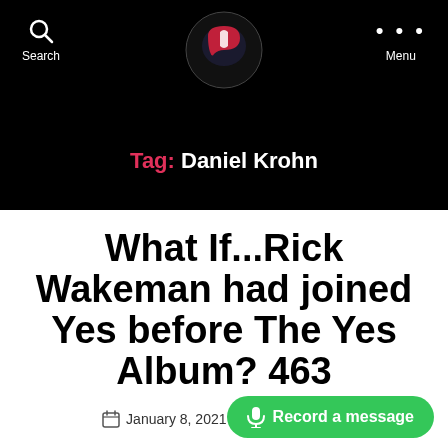Search | [Logo] | Menu
Tag: Daniel Krohn
What If...Rick Wakeman had joined Yes before The Yes Album? 463
January 8, 2021   4 Comments
Record a message